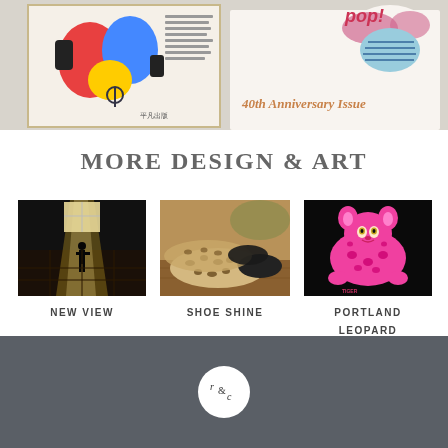[Figure (photo): Top banner showing two colorful magazine covers propped against a wall. Left cover has cartoon characters and Japanese text. Right cover says '40th Anniversary Issue' with pop art illustration.]
MORE DESIGN & ART
[Figure (photo): Dark interior photo with light streaming through a large window onto a tile floor, silhouette of a person.]
NEW VIEW
[Figure (photo): Close-up of leopard print flat shoes with black toe caps on a wooden surface.]
SHOE SHINE
[Figure (photo): Bright neon pink leopard/panther graphic illustration on a dark background, appears to be a poster or magazine cover.]
PORTLAND LEOPARD
[Figure (logo): Round white circle logo with stylized 'r & c' lettering in dark ink.]